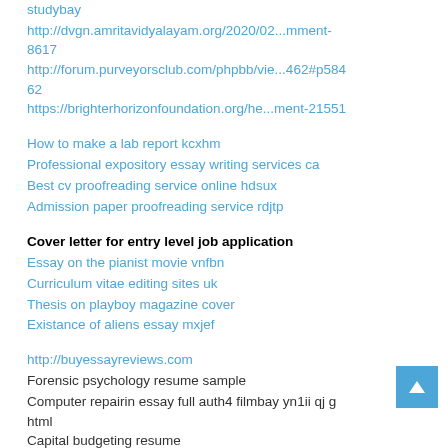studybay
http://dvgn.amritavidyalayam.org/2020/02...mment-8617
http://forum.purveyorsclub.com/phpbb/vie...462#p58462
https://brighterhorizonfoundation.org/he...ment-21551
How to make a lab report kcxhm
Professional expository essay writing services ca
Best cv proofreading service online hdsux
Admission paper proofreading service rdjtp
Cover letter for entry level job application
Essay on the pianist movie vnfbn
Curriculum vitae editing sites uk
Thesis on playboy magazine cover
Existance of aliens essay mxjef
http://buyessayreviews.com
Forensic psychology resume sample
Computer repairin essay full auth4 filmbay yn1ii qj g html
Capital budgeting resume